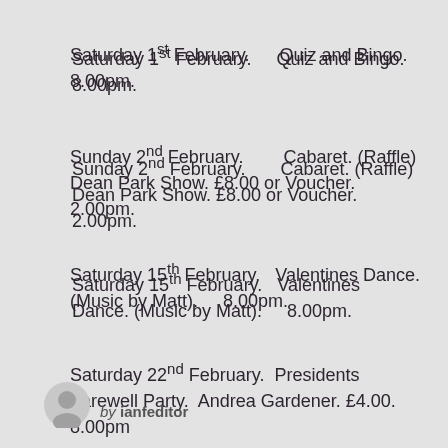Saturday 1st February.    Quiz and Bingo. 8.00pm.
Sunday 2nd February.      Cabaret. (Raffle)  Dean Park Show. £8.00 or Voucher.   2.00pm.
Saturday 15th February.   Valentines Dance. (Music by Matt).     8.00pm.
Saturday 22nd February.  Presidents Farewell Party.  Andrea Gardener. £4.00.   8.00pm
by ianfeditor